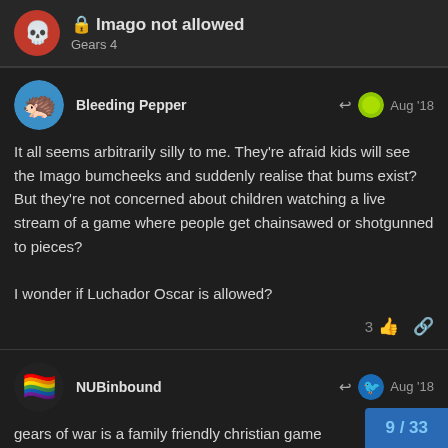🔒 Imago not allowed
Gears 4
Bleeding Pepper
Aug '18
It all seems arbitrarily silly to me. They're afraid kids will see the Imago bumcheeks and suddenly realise that bums exist? But they're not concerned about children watching a live stream of a game where people get chainsawed or shotgunned to pieces?

I wonder if Luchador Oscar is allowed?
3
NUBinbound
Aug '18
gears of war is a family friendly christian game
9 / 33